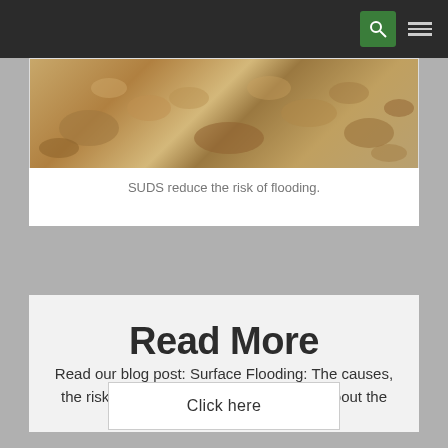[Figure (screenshot): Website navigation bar with dark background, green search icon button and hamburger menu icon on the right]
[Figure (photo): Close-up photo of pebbles/gravel on a beach or ground surface, brownish tones]
SUDS reduce the risk of flooding.
Read More
Read our blog post: Surface Flooding: The causes, the risks and the cures to find out more about the risks of flooding.
Click here